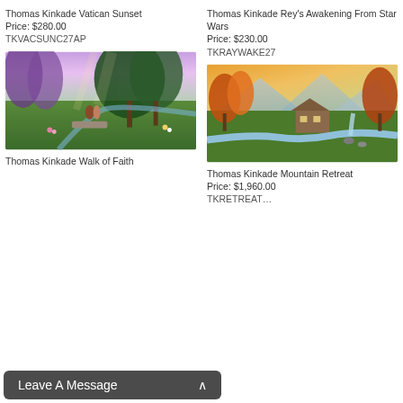Thomas Kinkade Vatican Sunset
Price: $280.00
TKVACSUNC27AP
Thomas Kinkade Rey's Awakening From Star Wars
Price: $230.00
TKRAYWAKE27
[Figure (photo): Thomas Kinkade Walk of Faith painting – lush garden scene with couple and large trees, waterfall and stone bridge, colorful flowers]
[Figure (photo): Thomas Kinkade Mountain Retreat painting – autumn forest scene with log cabin, stream with waterfall, golden sunset sky]
Thomas Kinkade Walk of Faith
Thomas Kinkade Mountain Retreat
Price: $1,960.00
TKRETREAT…